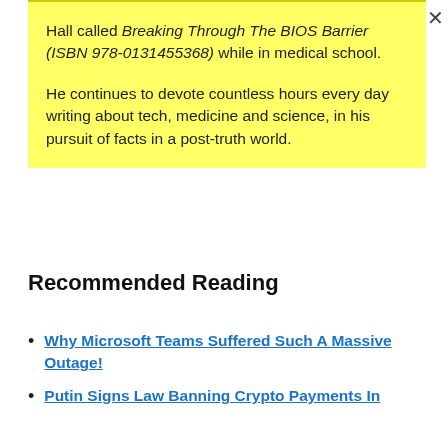Hall called Breaking Through The BIOS Barrier (ISBN 978-0131455368) while in medical school.

He continues to devote countless hours every day writing about tech, medicine and science, in his pursuit of facts in a post-truth world.
Recommended Reading
Why Microsoft Teams Suffered Such A Massive Outage!
Putin Signs Law Banning Crypto Payments In